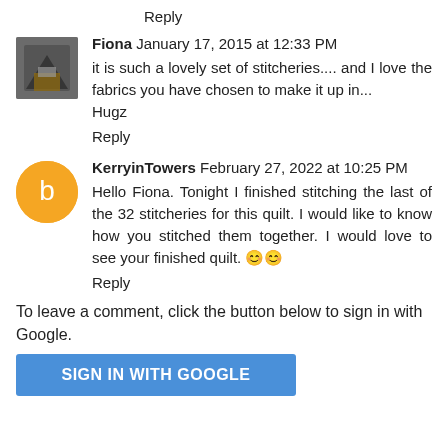Reply
Fiona  January 17, 2015 at 12:33 PM
it is such a lovely set of stitcheries.... and I love the fabrics you have chosen to make it up in...
Hugz
Reply
KerryinTowers  February 27, 2022 at 10:25 PM
Hello Fiona. Tonight I finished stitching the last of the 32 stitcheries for this quilt. I would like to know how you stitched them together. I would love to see your finished quilt. 😊😊
Reply
To leave a comment, click the button below to sign in with Google.
SIGN IN WITH GOOGLE